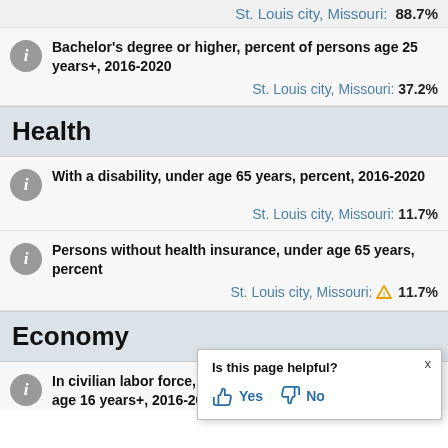St. Louis city, Missouri:  88.7%
Bachelor's degree or higher, percent of persons age 25 years+, 2016-2020
St. Louis city, Missouri:  37.2%
Health
With a disability, under age 65 years, percent, 2016-2020
St. Louis city, Missouri:  11.7%
Persons without health insurance, under age 65 years, percent
St. Louis city, Missouri:  11.7%
Economy
In civilian labor force, total, percent, age 16 years+, 2016-2020